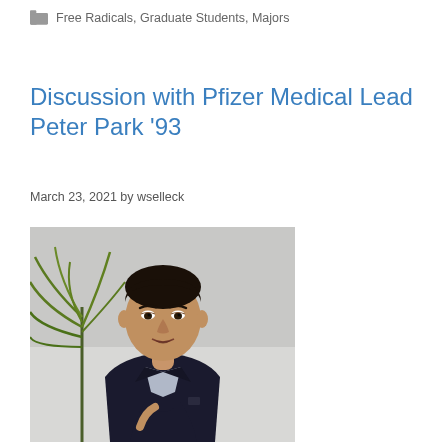Free Radicals, Graduate Students, Majors
Discussion with Pfizer Medical Lead Peter Park '93
March 23, 2021 by wselleck
[Figure (photo): Photo of Peter Park, a man in a dark suit jacket, speaking, with a plant visible in the background. Screenshot from a video call.]